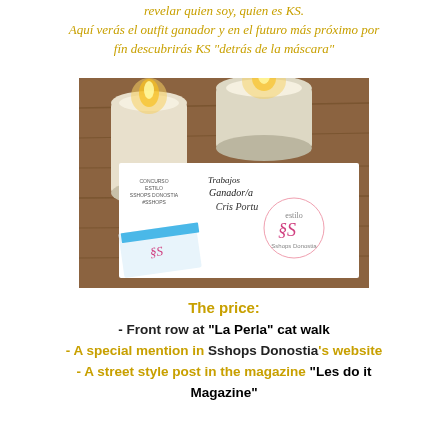revelar quien soy, quien es KS.
Aquí verás el outfit ganador y en el futuro más próximo por fín descubrirás KS "detrás de la máscara"
[Figure (photo): A photo showing a contest winner card/envelope with handwritten text 'Trabajos Ganador/a Cris Portu' and the 'Estilo SS' logo, placed on a wooden table alongside two lit candles in glass holders. A small card with SS branding is also visible.]
The price:
- Front row at "La Perla" cat walk
- A special mention in Sshops Donostia's website
- A street style post in the magazine "Les do it Magazine"